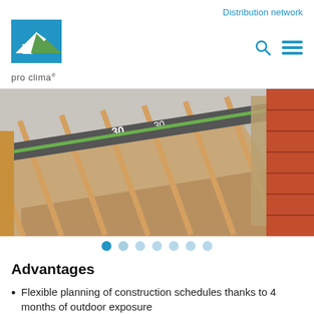Distribution network
[Figure (logo): pro clima logo with blue/green roof house icon and 'pro clima' text below]
[Figure (photo): Cross-section diagram of a roof construction showing timber rafters, insulation layers, membrane with product labeling, and roof tiles on the right side]
Advantages
Flexible planning of construction schedules thanks to 4 months of outdoor exposure